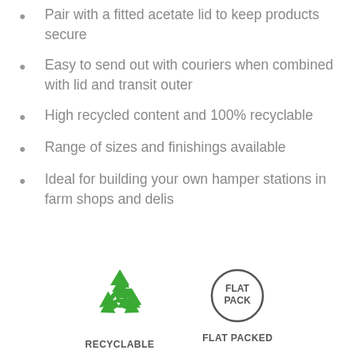Pair with a fitted acetate lid to keep products secure
Easy to send out with couriers when combined with lid and transit outer
High recycled content and 100% recyclable
Range of sizes and finishings available
Ideal for building your own hamper stations in farm shops and delis
[Figure (illustration): Recycling symbol (green arrows in triangle) with label RECYCLABLE, and a circle with FLAT PACK text inside with label FLAT PACKED]